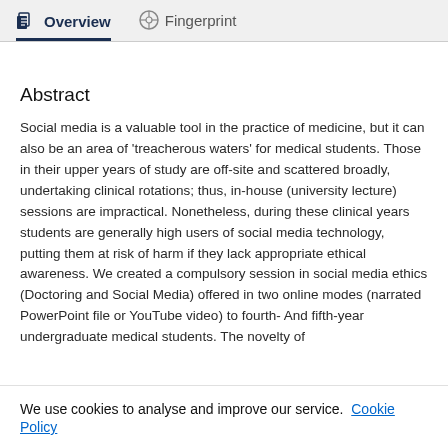Overview   Fingerprint
Abstract
Social media is a valuable tool in the practice of medicine, but it can also be an area of 'treacherous waters' for medical students. Those in their upper years of study are off-site and scattered broadly, undertaking clinical rotations; thus, in-house (university lecture) sessions are impractical. Nonetheless, during these clinical years students are generally high users of social media technology, putting them at risk of harm if they lack appropriate ethical awareness. We created a compulsory session in social media ethics (Doctoring and Social Media) offered in two online modes (narrated PowerPoint file or YouTube video) to fourth- And fifth-year undergraduate medical students. The novelty of
We use cookies to analyse and improve our service. Cookie Policy